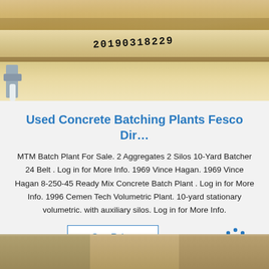[Figure (photo): Close-up photo of wooden lumber/boards with a stamped number '20190318229' visible, metal clamps or brackets visible on the left side. Light wood tones with beige/tan background.]
Used Concrete Batching Plants Fesco Dir…
MTM Batch Plant For Sale. 2 Aggregates 2 Silos 10-Yard Batcher 24 Belt . Log in for More Info. 1969 Vince Hagan. 1969 Vince Hagan 8-250-45 Ready Mix Concrete Batch Plant . Log in for More Info. 1996 Cemen Tech Volumetric Plant. 10-yard stationary volumetric. with auxiliary silos. Log in for More Info.
[Figure (logo): TOP logo with blue dot arc above the word TOP in bold blue text]
[Figure (photo): Partial bottom strip showing another photo of construction/concrete equipment or materials in tan/brown tones]